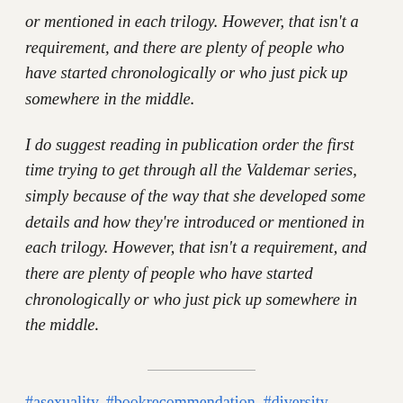or mentioned in each trilogy. However, that isn't a requirement, and there are plenty of people who have started chronologically or who just pick up somewhere in the middle.
I do suggest reading in publication order the first time trying to get through all the Valdemar series, simply because of the way that she developed some details and how they're introduced or mentioned in each trilogy. However, that isn't a requirement, and there are plenty of people who have started chronologically or who just pick up somewhere in the middle.
#asexuality, #bookrecommendation, #diversity,